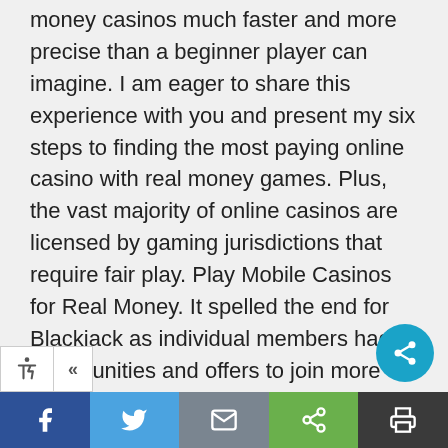money casinos much faster and more precise than a beginner player can imagine. I am eager to share this experience with you and present my six steps to finding the most paying online casino with real money games. Plus, the vast majority of online casinos are licensed by gaming jurisdictions that require fair play. Play Mobile Casinos for Real Money. It spelled the end for Blackjack as individual members had opportunities and offers to join more promising musical situations. By , Gennaro had replaced, making his debut on the album. The availability of several options for clients to spend their money online is a welcome relief on any site. Best casinos Australia sites are also available several well known languages allowing
[Figure (other): Share FAB button (teal circle with share icon), accessibility widget (wheelchair icon + collapse arrow), and bottom social sharing bar with Facebook, Twitter, Email, Share, and Print buttons]